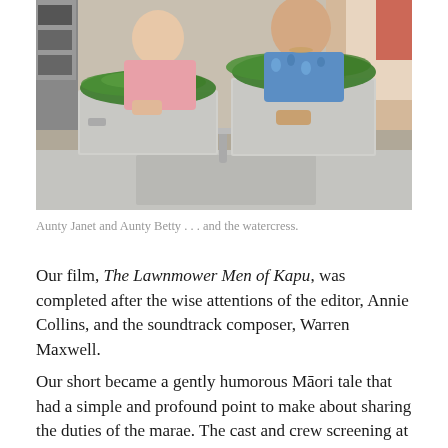[Figure (photo): Two women standing behind large stainless steel containers filled with watercress in a commercial kitchen setting. One woman wears a pink top, the other a floral blue and white top. The kitchen has a sink with a faucet visible in the foreground.]
Aunty Janet and Aunty Betty . . . and the watercress.
Our film, The Lawnmower Men of Kapu, was completed after the wise attentions of the editor, Annie Collins, and the soundtrack composer, Warren Maxwell.
Our short became a gently humorous Māori tale that had a simple and profound point to make about sharing the duties of the marae. The cast and crew screening at Te Pou o Tainui was a